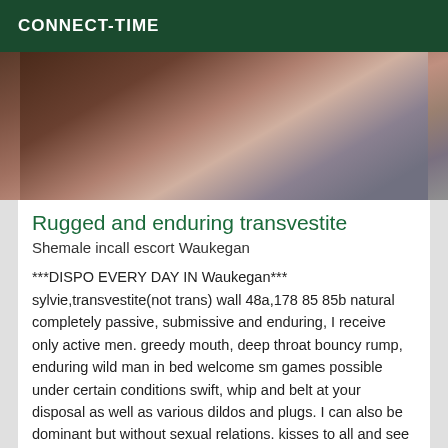CONNECT-TIME
[Figure (photo): Close-up photo of a person wearing fishnet stockings and dark clothing, partially cropped]
Rugged and enduring transvestite
Shemale incall escort Waukegan
***DISPO EVERY DAY IN Waukegan*** sylvie,transvestite(not trans) wall 48a,178 85 85b natural completely passive, submissive and enduring, I receive only active men. greedy mouth, deep throat bouncy rump, enduring wild man in bed welcome sm games possible under certain conditions swift, whip and belt at your disposal as well as various dildos and plugs. I can also be dominant but without sexual relations. kisses to all and see you soon.....sylvie